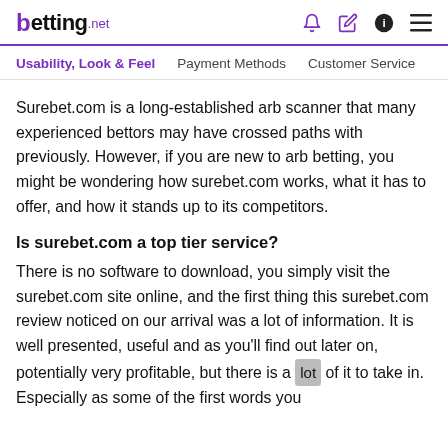betting.net
Usability, Look & Feel  Payment Methods  Customer Service
Surebet.com is a long-established arb scanner that many experienced bettors may have crossed paths with previously. However, if you are new to arb betting, you might be wondering how surebet.com works, what it has to offer, and how it stands up to its competitors.
Is surebet.com a top tier service?
There is no software to download, you simply visit the surebet.com site online, and the first thing this surebet.com review noticed on our arrival was a lot of information. It is well presented, useful and as you'll find out later on, potentially very profitable, but there is a lot of it to take in. Especially as some of the first words you